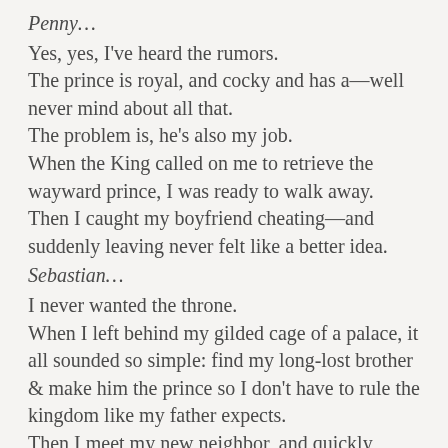Penny…
Yes, yes, I've heard the rumors.
The prince is royal, and cocky and has a—well never mind about all that.
The problem is, he's also my job.
When the King called on me to retrieve the wayward prince, I was ready to walk away.
Then I caught my boyfriend cheating—and suddenly leaving never felt like a better idea.
Sebastian…
I never wanted the throne.
When I left behind my gilded cage of a palace, it all sounded so simple: find my long-lost brother & make him the prince so I don't have to rule the kingdom like my father expects.
Then I meet my new neighbor, and quickly realize I've found the queen of my heart—and